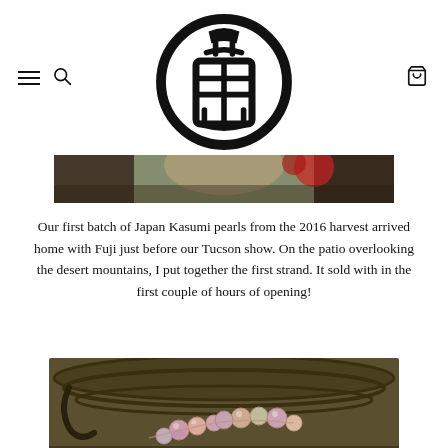[Figure (logo): Japanese circular seal/hanko logo with kanji characters inside a thick circular border]
[Figure (photo): Partial banner photo showing a person wearing red flower accessories, cropped view of face/hair]
Our first batch of Japan Kasumi pearls from the 2016 harvest arrived home with Fuji just before our Tucson show. On the patio overlooking the desert mountains, I put together the first strand. It sold with in the first couple of hours of opening!
[Figure (photo): Close-up photo of pink/copper Kasumi pearl necklace/bracelet strands draped over a dark bronze ornamental bowl]